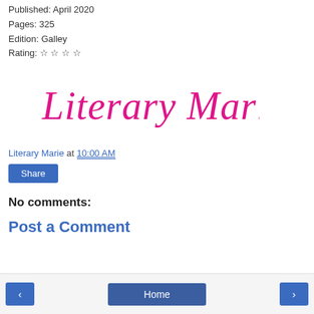Published: April 2020
Pages: 325
Edition: Galley
Rating: ☆ ☆ ☆ ☆
[Figure (illustration): Literary Marie cursive signature in hot pink/magenta color]
Literary Marie at 10:00 AM
Share
No comments:
Post a Comment
< Home >